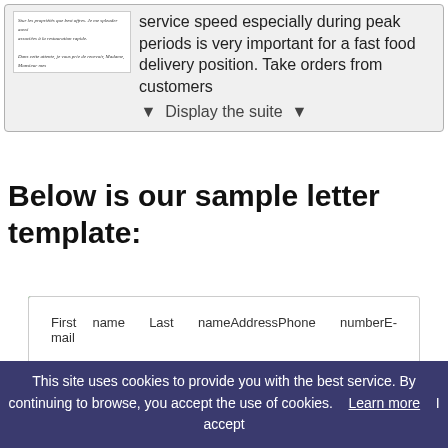[Figure (screenshot): Screenshot of a letter/document snippet in italic serif font with French text]
service speed especially during peak periods is very important for a fast food delivery position. Take orders from customers
▼  Display the suite  ▼
Below is our sample letter template:
[Figure (screenshot): Sample letter template showing fields: First name Last name Address Phone number E-mail and Company Name Attn: Ms./Mr.]
This site uses cookies to provide you with the best service. By continuing to browse, you accept the use of cookies.    Learn more    I accept